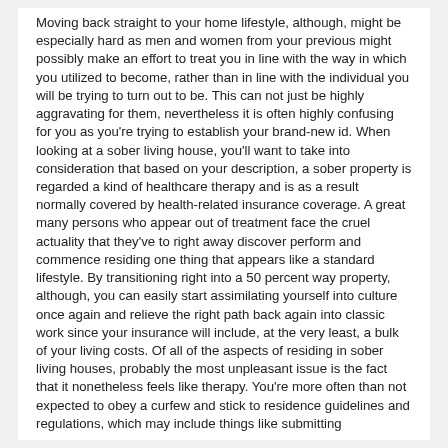Moving back straight to your home lifestyle, although, might be especially hard as men and women from your previous might possibly make an effort to treat you in line with the way in which you utilized to become, rather than in line with the individual you will be trying to turn out to be. This can not just be highly aggravating for them, nevertheless it is often highly confusing for you as you're trying to establish your brand-new id. When looking at a sober living house, you'll want to take into consideration that based on your description, a sober property is regarded a kind of healthcare therapy and is as a result normally covered by health-related insurance coverage. A great many persons who appear out of treatment face the cruel actuality that they've to right away discover perform and commence residing one thing that appears like a standard lifestyle. By transitioning right into a 50 percent way property, although, you can easily start assimilating yourself into culture once again and relieve the right path back again into classic work since your insurance will include, at the very least, a bulk of your living costs. Of all of the aspects of residing in sober living houses, probably the most unpleasant issue is the fact that it nonetheless feels like therapy. You're more often than not expected to obey a curfew and stick to residence guidelines and regulations, which may include things like submitting